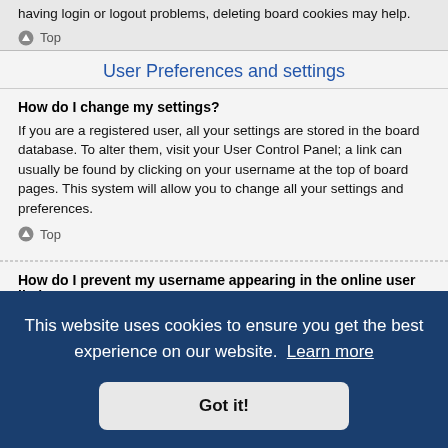having login or logout problems, deleting board cookies may help.
Top
User Preferences and settings
How do I change my settings?
If you are a registered user, all your settings are stored in the board database. To alter them, visit your User Control Panel; a link can usually be found by clicking on your username at the top of board pages. This system will allow you to change all your settings and preferences.
Top
How do I prevent my username appearing in the online user listings?
Within your User Control Panel, under "Board preferences", you will find the option ... ear to the ... en user.
... me you ... r timezone to match your particular area, e.g. London, Paris, New York, Sydney,
This website uses cookies to ensure you get the best experience on our website. Learn more
Got it!